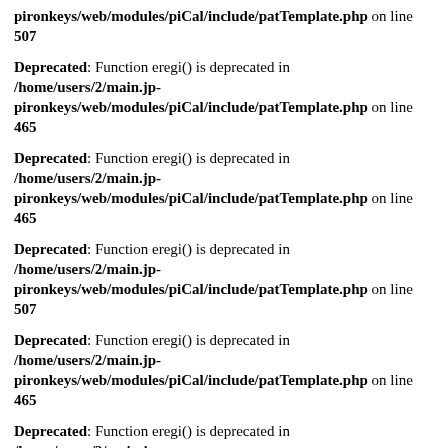pironkeys/web/modules/piCal/include/patTemplate.php on line 507
Deprecated: Function eregi() is deprecated in /home/users/2/main.jp-pironkeys/web/modules/piCal/include/patTemplate.php on line 465
Deprecated: Function eregi() is deprecated in /home/users/2/main.jp-pironkeys/web/modules/piCal/include/patTemplate.php on line 465
Deprecated: Function eregi() is deprecated in /home/users/2/main.jp-pironkeys/web/modules/piCal/include/patTemplate.php on line 507
Deprecated: Function eregi() is deprecated in /home/users/2/main.jp-pironkeys/web/modules/piCal/include/patTemplate.php on line 465
Deprecated: Function eregi() is deprecated in /home/users/2/main.jp-